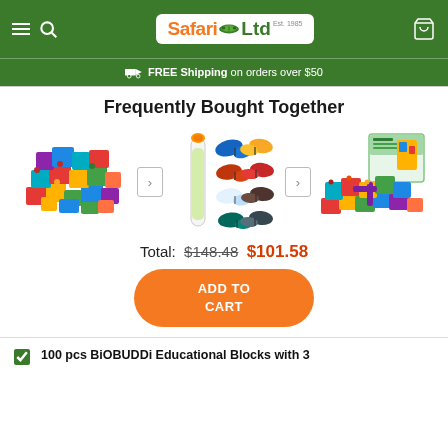Safari Ltd – navigation header with hamburger menu, search icon, logo, and cart icon
FREE Shipping on orders over $50
Frequently Bought Together
[Figure (photo): Three product images shown side by side: colorful building blocks pile, butterfly figurines tube set, and building blocks box set]
Total: $148.48  $101.58
ADD TO CART
100 pcs BiOBUDDi Educational Blocks with 3